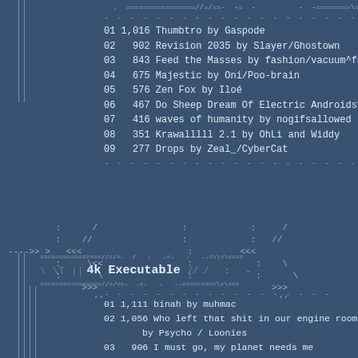header border decoration line (ASCII art top)
01  1,016  Thumbtro by Gaspode
02    902  Revision 2035 by Slayer/Ghostown
03    843  Feed the Masses by fashion/vacuum^farbraus
04    675  Majestic by Oni/Poo-brain
05    576  Zen Fox by Iloé
06    467  Do Sheep Dream Of Electric Androids? by co
07    416  waves of humanity by nogifsallowed
08    351  Krawalllll 2.1 by OhLi and Widdy
09    277  Drops by Zeal_/CyberCat
[Figure (illustration): ASCII art decorative divider with arrows and geometric shapes made of characters like <<, >>, //, \]
4k Executable
01  1,111  binah by muhmac
02  1,056  Who left that shit in our engine room? by Psycho / Loonies
03    906  I must go, my planet needs me by BoyC / Conspiracy ^ Digital Dynamite
04    866  lotus by tazadum
05    836  reactor by RaDi/Plush
06    831  lanchid by Zeal_/CyberCat
07    639  Biollante by lovelyHanibal/amnesty
08    479  Nebula by OgreSound
09    461  Puskamaa by Gluster
10    405  Bat by OhLi/Digital Demolition Krew